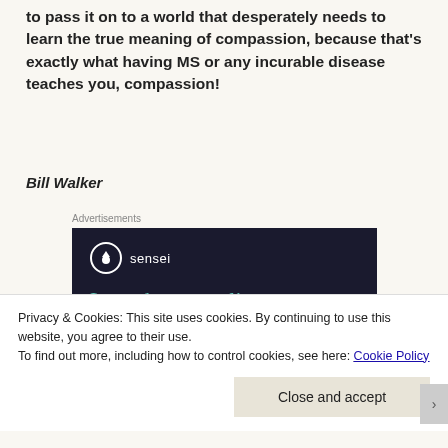to pass it on to a world that desperately needs to learn the true meaning of compassion, because that's exactly what having MS or any incurable disease teaches you, compassion!
Bill Walker
Advertisements
[Figure (screenshot): Sensei advertisement showing logo and headline 'Launch your online course with WordPress']
Privacy & Cookies: This site uses cookies. By continuing to use this website, you agree to their use.
To find out more, including how to control cookies, see here: Cookie Policy
Close and accept